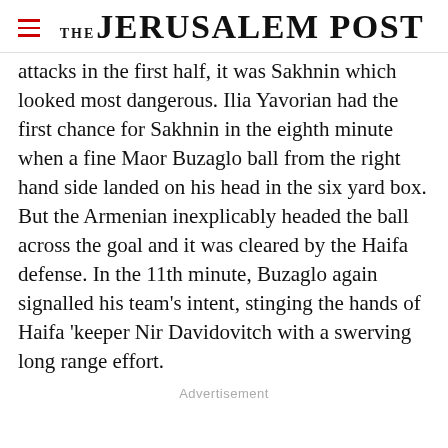THE JERUSALEM POST
attacks in the first half, it was Sakhnin which looked most dangerous. Ilia Yavorian had the first chance for Sakhnin in the eighth minute when a fine Maor Buzaglo ball from the right hand side landed on his head in the six yard box. But the Armenian inexplicably headed the ball across the goal and it was cleared by the Haifa defense. In the 11th minute, Buzaglo again signalled his team's intent, stinging the hands of Haifa 'keeper Nir Davidovitch with a swerving long range effort.
Advertisement